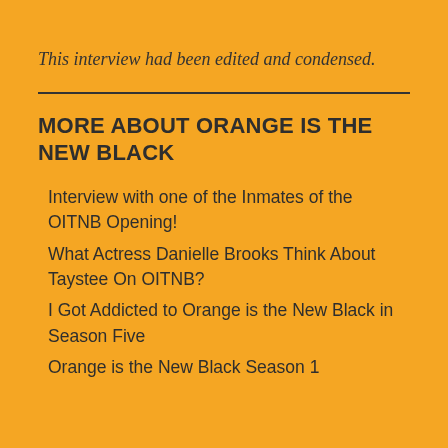This interview had been edited and condensed.
MORE ABOUT ORANGE IS THE NEW BLACK
Interview with one of the Inmates of the OITNB Opening!
What Actress Danielle Brooks Think About Taystee On OITNB?
I Got Addicted to Orange is the New Black in Season Five
Orange is the New Black Season 1